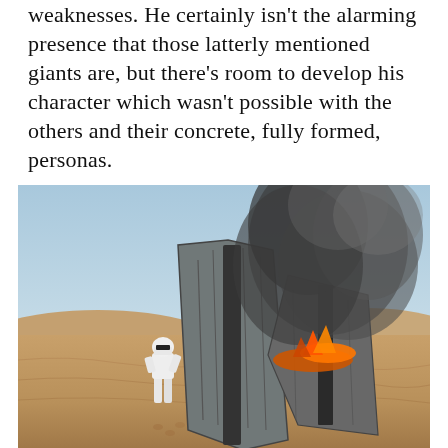weaknesses. He certainly isn't the alarming presence that those latterly mentioned giants are, but there's room to develop his character which wasn't possible with the others and their concrete, fully formed, personas.
[Figure (photo): A stormtrooper in white armor walks toward a crashed and burning TIE fighter on a sandy desert landscape, with smoke rising into a clear sky.]